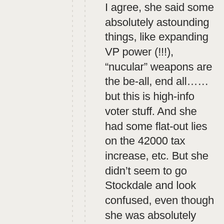I agree, she said some absolutely astounding things, like expanding VP power (!!!), “nucular” weapons are the be-all, end all…… but this is high-info voter stuff. And she had some flat-out lies on the 42000 tax increase, etc. But she didn’t seem to go Stockdale and look confused, even though she was absolutely unresponsive to the questions. So…